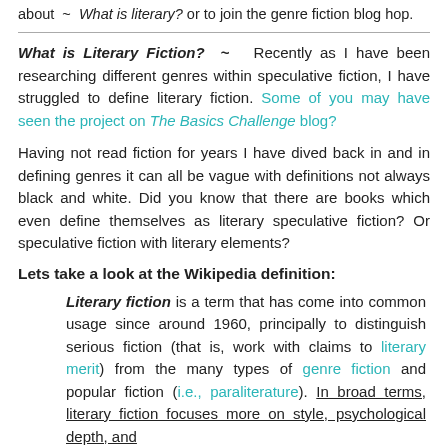about ~ What is literary? or to join the genre fiction blog hop.
What is Literary Fiction? ~ Recently as I have been researching different genres within speculative fiction, I have struggled to define literary fiction. Some of you may have seen the project on The Basics Challenge blog?
Having not read fiction for years I have dived back in and in defining genres it can all be vague with definitions not always black and white. Did you know that there are books which even define themselves as literary speculative fiction? Or speculative fiction with literary elements?
Lets take a look at the Wikipedia definition:
Literary fiction is a term that has come into common usage since around 1960, principally to distinguish serious fiction (that is, work with claims to literary merit) from the many types of genre fiction and popular fiction (i.e., paraliterature). In broad terms, literary fiction focuses more on style, psychological depth, and